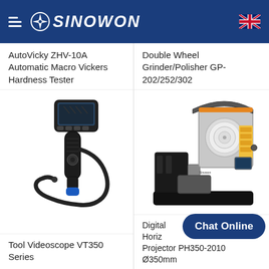SINOWON
AutoVicky ZHV-10A Automatic Macro Vickers Hardness Tester
Double Wheel Grinder/Polisher GP-202/252/302
[Figure (photo): Tool Videoscope VT350 Series - handheld videoscope device with cable]
[Figure (photo): Digital Horizontal Projector PH350-2010 Ø350mm - large profile projector machine]
Tool Videoscope VT350 Series
Digital Horizontal Projector PH350-2010 Ø350mm